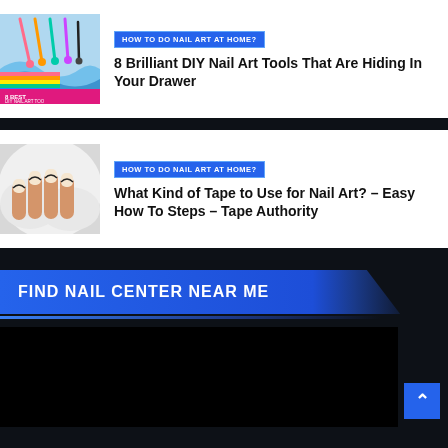[Figure (illustration): Thumbnail image showing colorful nail art dotting tools and a blue wave design background with text '8 BEST DIY NAIL ART TOOL']
HOW TO DO NAIL ART AT HOME?
8 Brilliant DIY Nail Art Tools That Are Hiding In Your Drawer
[Figure (photo): Photo of a hand with French manicure nails with dark nail art design, resting on a white fluffy surface]
HOW TO DO NAIL ART AT HOME?
What Kind of Tape to Use for Nail Art? – Easy How To Steps – Tape Authority
FIND NAIL CENTER NEAR ME
[Figure (map): Dark/black map area showing nail center locations]